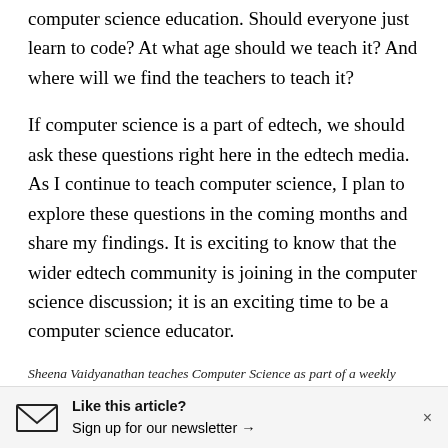computer science education. Should everyone just learn to code? At what age should we teach it? And where will we find the teachers to teach it?
If computer science is a part of edtech, we should ask these questions right here in the edtech media. As I continue to teach computer science, I plan to explore these questions in the coming months and share my findings. It is exciting to know that the wider edtech community is joining in the computer science discussion; it is an exciting time to be a computer science educator.
Sheena Vaidyanathan teaches Computer Science as part of a weekly program to approximately 500 sixth graders in the Los Altos School District, in Los Altos, California. Prior to her teaching career, she has worked in Silicon Valley as a computer scientist and technology
Like this article? Sign up for our newsletter →